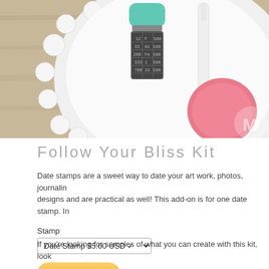[Figure (photo): Product photo showing craft stamps including a date stamp with teal handle, a pink circular ink pad, and a white pen on a decorative white ceramic plate with lace-edged rim, on a wooden surface. A watermark logo 'M' is visible in the bottom right.]
Follow Your Bliss Kit
Date stamps are a sweet way to date your art work, photos, journalin designs and are practical as well! This add-on is for one date stamp. In
Stamp
Date Stamp $5.00 USD
Add to Cart
If you're looking for samples of what you can create with this kit, look